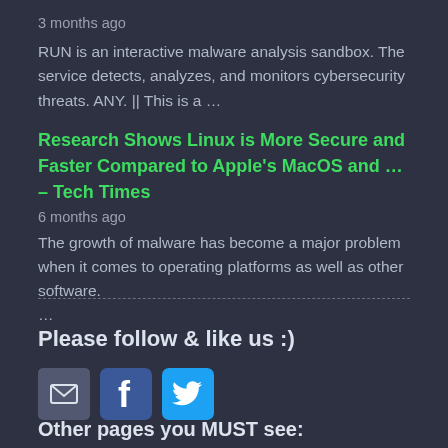3 months ago
RUN is an interactive malware analysis sandbox. The service detects, analyzes, and monitors cybersecurity threats. ANY. || This is a …
Research Shows Linux is More Secure and Faster Compared to Apple's MacOS and … – Tech Times
6 months ago
The growth of malware has become a major problem when it comes to operating platforms as well as other software. …
Please follow & like us :)
[Figure (infographic): Social media icons: email envelope, Facebook (f), Twitter bird]
Other pages you MUST see: